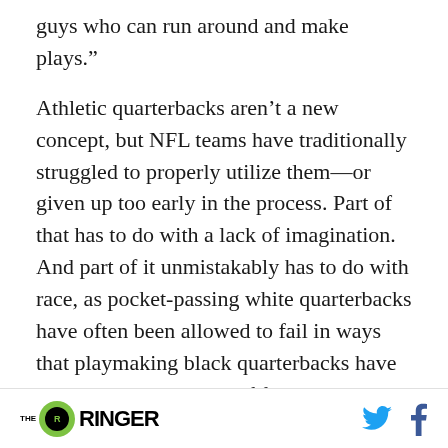guys who can run around and make plays.”
Athletic quarterbacks aren’t a new concept, but NFL teams have traditionally struggled to properly utilize them—or given up too early in the process. Part of that has to do with a lack of imagination. And part of it unmistakably has to do with race, as pocket-passing white quarterbacks have often been allowed to fail in ways that playmaking black quarterbacks have not. But at every level of football, coaches have become more open-minded about putting the ball
THE RINGER